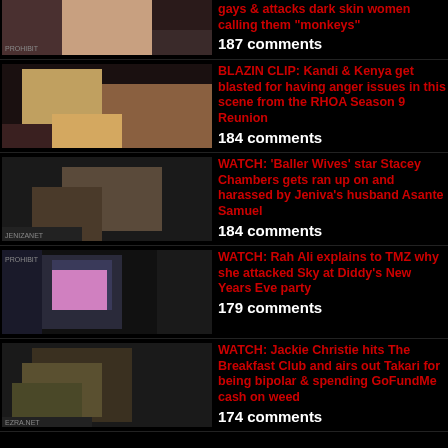gays & attacks dark skin women calling them "monkeys"
187 comments
BLAZIN CLIP: Kandi & Kenya get blasted for having anger issues in this scene from the RHOA Season 9 Reunion
184 comments
WATCH: 'Baller Wives' star Stacey Chambers gets ran up on and harassed by Jeniva's husband Asante Samuel
184 comments
WATCH: Rah Ali explains to TMZ why she attacked Sky at Diddy's New Years Eve party
179 comments
WATCH: Jackie Christie hits The Breakfast Club and airs out Takari for being bipolar & spending GoFundMe cash on weed
174 comments